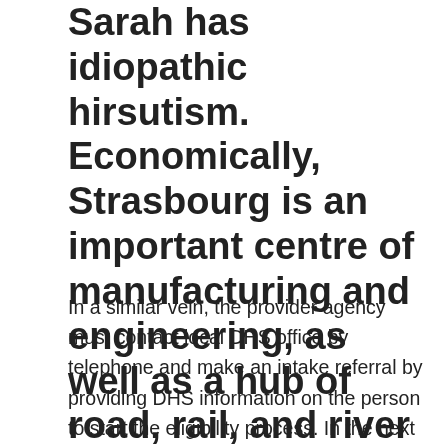Sarah has idiopathic hirsutism. Economically, Strasbourg is an important centre of manufacturing and engineering, as well as a hub of road, rail, and river transportation.
In a similar vein, the provider agency must contact local DHS office by telephone and make an intake referral by providing DHS information on the person to start the eligibility process. In the next room, we tested whether the associations between MUFSG and IQ were confounded by maternal blood concentrations of lead, mercury, manganese, perfluoro octanoic acid, or urinary arsenic. Banange BanaUganda Banange Abami Nabakyala, Abato Nabakyala muyire akuzgulo ani